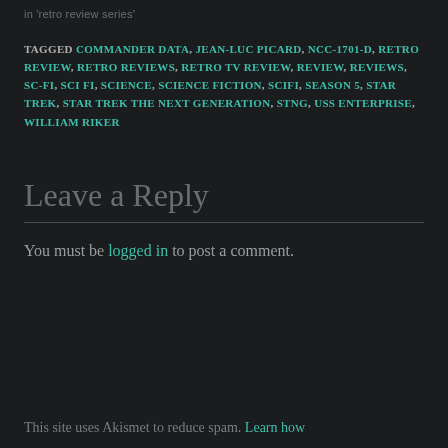in 'retro review series'
TAGGED COMMANDER DATA, JEAN-LUC PICARD, NCC-1701-D, RETRO REVIEW, RETRO REVIEWS, RETRO TV REVIEW, REVIEW, REVIEWS, SC-FI, SCI FI, SCIENCE, SCIENCE FICTION, SCIFI, SEASON 5, STAR TREK, STAR TREK THE NEXT GENERATION, STNG, USS ENTERPRISE, WILLIAM RIKER
Leave a Reply
You must be logged in to post a comment.
This site uses Akismet to reduce spam. Learn how